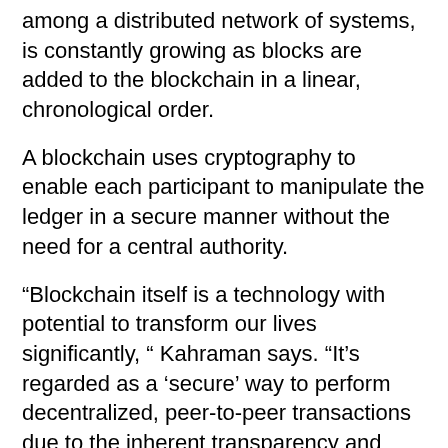among a distributed network of systems, is constantly growing as blocks are added to the blockchain in a linear, chronological order.
A blockchain uses cryptography to enable each participant to manipulate the ledger in a secure manner without the need for a central authority.
“Blockchain itself is a technology with potential to transform our lives significantly, “ Kahraman says. “It’s regarded as a ‘secure’ way to perform decentralized, peer-to-peer transactions due to the inherent transparency and availability it provides. This is great for public data or data which is meant to be seen by others. But we are only just exploring how to secure ledgers and